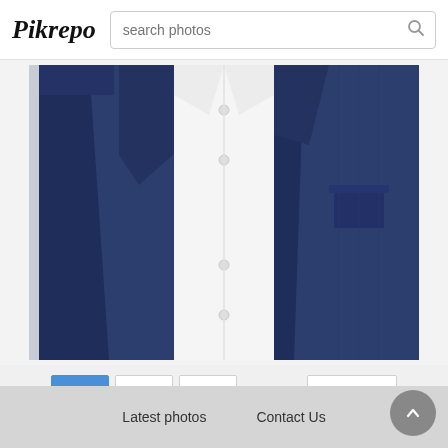Pikrepo | search photos
[Figure (photo): Two navy blue suit jackets flanking a white dress shirt, displayed on a light gray background]
1  2  3  ...  Next
Latest photos   Contact Us